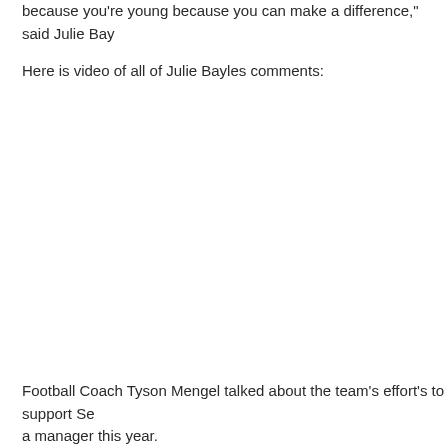because you're young because you can make a difference," said Julie Bay
Here is video of all of Julie Bayles comments:
Football Coach Tyson Mengel talked about the team's effort's to support Se a manager this year.